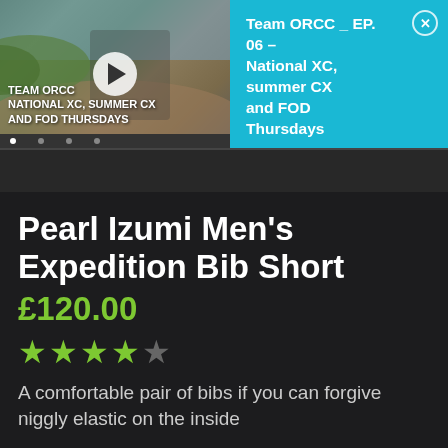[Figure (screenshot): Video thumbnail showing a cyclist on a mountain bike trail, with overlay text 'TEAM ORCC NATIONAL XC, SUMMER CX AND FOD THURSDAYS' and a play button in the center. A scrubber bar is visible at the bottom.]
Team ORCC _ EP. 06 – National XC, summer CX and FOD Thursdays
Pearl Izumi Men's Expedition Bib Short
£120.00
[Figure (other): 4 out of 5 star rating displayed as green filled stars with one grey empty star]
A comfortable pair of bibs if you can forgive niggly elastic on the inside